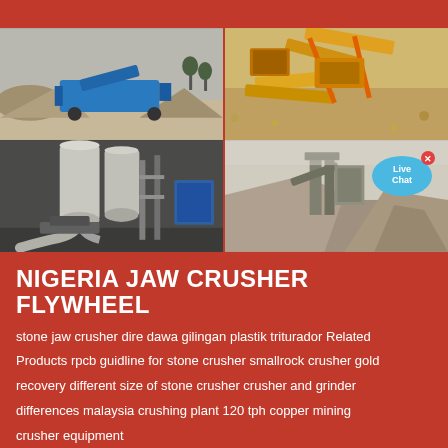[Figure (photo): Four industrial mining/crushing equipment photos arranged in a 2x2 grid: top-left shows blue mobile crushing equipment on sandy ground; top-right shows yellow conveyor/screening plant from aerial view; bottom-left shows large industrial milling equipment with pipes and silos indoors; bottom-right shows outdoor stone crushing plant with large aggregate piles and a Live Chat bubble overlay]
NIGERIA JAW CRUSHER FLYWHEEL
stone jaw crusher dire dawa gilingan plastik triturador Related Products rpcb guidline for stone crusher smallrock crusher gold recovery different size of stone crusher crusher and grinder differences malaysia crushing plant 120 tph copper mining crusher equipment